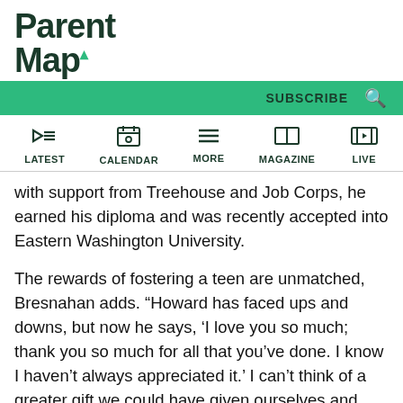ParentMap
SUBSCRIBE
LATEST | CALENDAR | MORE | MAGAZINE | LIVE
with support from Treehouse and Job Corps, he earned his diploma and was recently accepted into Eastern Washington University.
The rewards of fostering a teen are unmatched, Bresnahan adds. “Howard has faced ups and downs, but now he says, ‘I love you so much; thank you so much for all that you’ve done. I know I haven’t always appreciated it.’ I can’t think of a greater gift we could have given ourselves and him.”